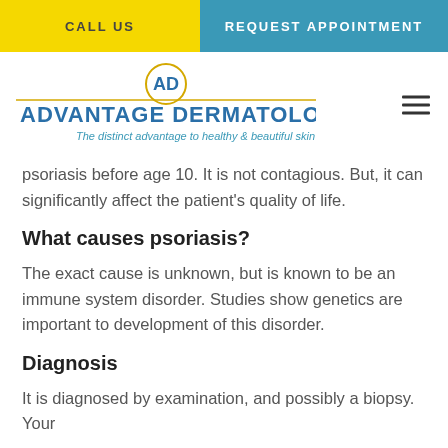CALL US | REQUEST APPOINTMENT
[Figure (logo): Advantage Dermatology logo with tagline: The distinct advantage to healthy & beautiful skin]
psoriasis before age 10. It is not contagious. But, it can significantly affect the patient's quality of life.
What causes psoriasis?
The exact cause is unknown, but is known to be an immune system disorder. Studies show genetics are important to development of this disorder.
Diagnosis
It is diagnosed by examination, and possibly a biopsy. Your